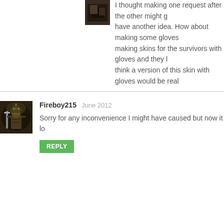[Figure (photo): Small user avatar thumbnail showing a dark figure, partially visible at top]
I thought making one request after the other might g... have another idea. How about making some gloves ... making skins for the survivors with gloves and they l... think a version of this skin with gloves would be real...
[Figure (photo): User avatar for Fireboy215 showing a warrior/knight figure in dark fantasy art style]
Fireboy215   June 2012
Sorry for any inconvenience I might have caused but now it lo...
REPLY